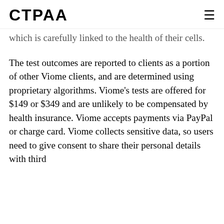CTPAA
which is carefully linked to the health of their cells.
The test outcomes are reported to clients as a portion of other Viome clients, and are determined using proprietary algorithms. Viome's tests are offered for $149 or $349 and are unlikely to be compensated by health insurance. Viome accepts payments via PayPal or charge card. Viome collects sensitive data, so users need to give consent to share their personal details with third